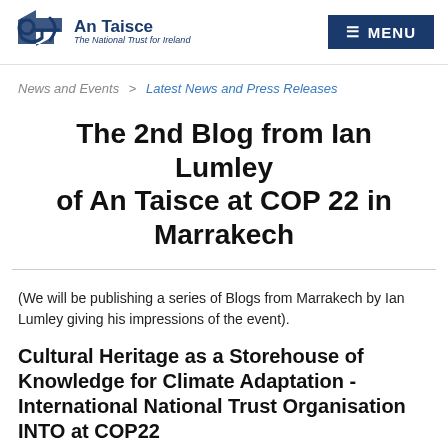An Taisce – The National Trust for Ireland | MENU
News and Events > Latest News and Press Releases
The 2nd Blog from Ian Lumley of An Taisce at COP 22 in Marrakech
(We will be publishing a series of Blogs from Marrakech by Ian Lumley giving his impressions of the event).
Cultural Heritage as a Storehouse of Knowledge for Climate Adaptation - International National Trust Organisation INTO at COP22